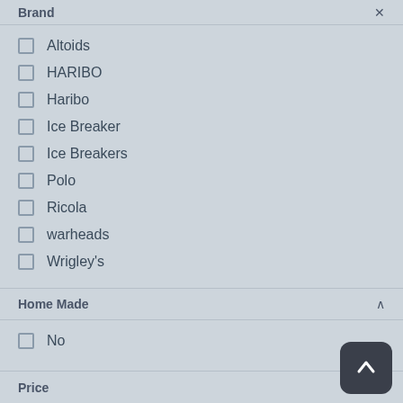Brand
Altoids
HARIBO
Haribo
Ice Breaker
Ice Breakers
Polo
Ricola
warheads
Wrigley's
Home Made
No
Price